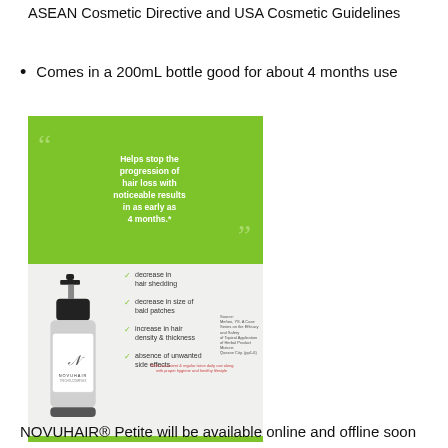ASEAN Cosmetic Directive and USA Cosmetic Guidelines
Comes in a 200mL bottle good for about 4 months use
[Figure (photo): NOVUHAIR product bottle with green promotional banner showing quote about stopping hair loss progression, checklist of benefits, and green accent bar at bottom.]
NOVUHAIR® Petite will be available online and offline soon